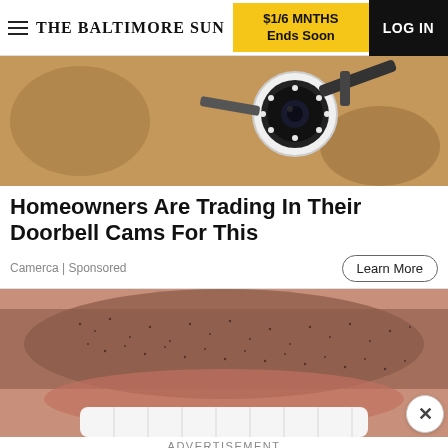THE BALTIMORE SUN | $1/6 MNTHS Ends Soon | LOG IN
[Figure (photo): Close-up of a security camera mounted on a textured wall]
Homeowners Are Trading In Their Doorbell Cams For This
Camerca | Sponsored
Learn More
[Figure (photo): Close-up of a person's chin and mouth area showing stubble/beard growth and white teeth]
ADVERTISEMENT
[Figure (infographic): Northrop Realty advertisement banner: Start Your Home Search Today! Search Our Listings button]